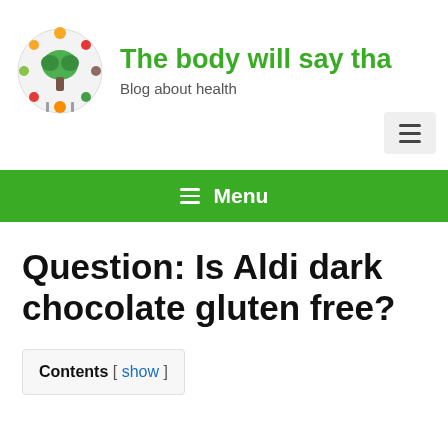The body will say tha — Blog about health
[Figure (logo): Circular arrangement of various healthy foods (vegetables, grains, nuts) forming a ring with a broccoli figure in the center]
≡ Menu
Question: Is Aldi dark chocolate gluten free?
Contents [ show ]